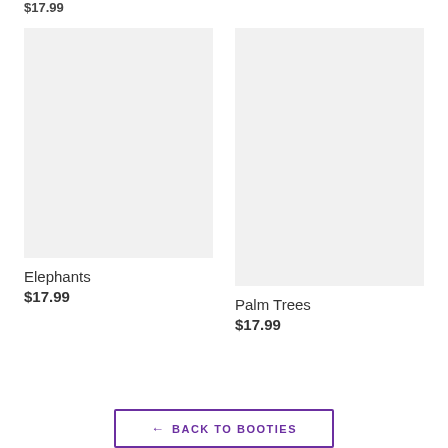$17.99
[Figure (photo): Product image placeholder for Elephants - light gray rectangle]
Elephants
$17.99
[Figure (photo): Product image placeholder for Palm Trees - light gray rectangle]
Palm Trees
$17.99
← BACK TO BOOTIES